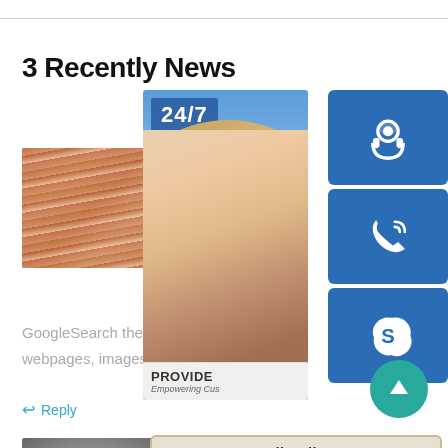3 Recently News
[Figure (photo): Stack of metal/copper sheets or plates viewed from the side]
GoogleSearch the world's information, in webpages, images, videos and more. Goo
Reply
[Figure (photo): Roll of shiny metal (steel/aluminum coil)]
[Figure (infographic): Customer support widget showing 24/7 service with a lady wearing headset, PROVIDE Empowering Customers text, online live chat button, headset icon tile, phone icon tile, Skype icon tile, and a teal scroll-to-top button]